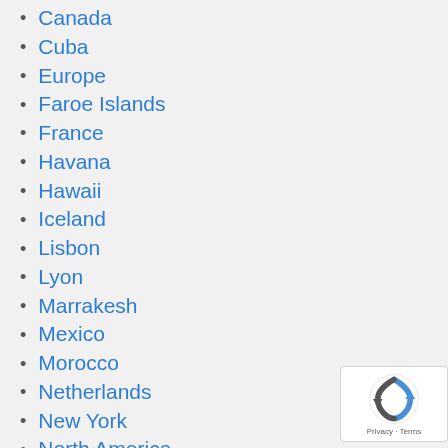Canada
Cuba
Europe
Faroe Islands
France
Havana
Hawaii
Iceland
Lisbon
Lyon
Marrakesh
Mexico
Morocco
Netherlands
New York
North America
Northern Iceland
Oregon
Paris
Pinar del Río
[Figure (logo): reCAPTCHA badge with Privacy - Terms text]